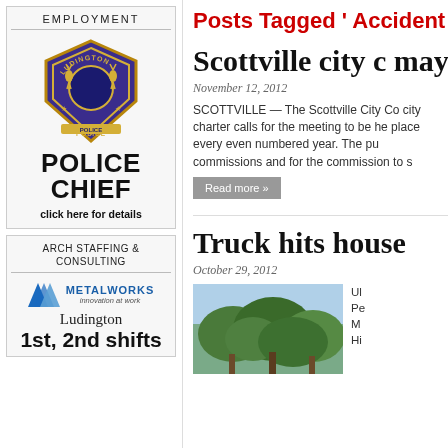[Figure (infographic): Employment ad for Police Chief position featuring Ludington Police badge]
[Figure (infographic): Arch Staffing & Consulting ad for Metalworks Ludington 1st and 2nd shifts]
Posts Tagged ‘ Accident
Scottville city council elects mayor tonight
November 12, 2012
SCOTTVILLE — The Scottville City Co... city charter calls for the meeting to be he... place every even numbered year. The pu... commissions and for the commission to s...
Read more »
Truck hits house
October 29, 2012
[Figure (photo): Photo of trees, possibly accident scene]
UL... Pe... M... Hi...